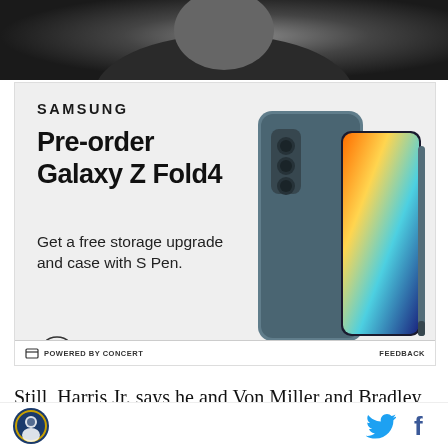[Figure (photo): Top portion of a photo showing a person, cropped]
[Figure (screenshot): Samsung advertisement for pre-order of Galaxy Z Fold4. Text: SAMSUNG. Pre-order Galaxy Z Fold4. Get a free storage upgrade and case with S Pen. Circle arrow button. Fine print. Image of Galaxy Z Fold4 phone with S Pen. Footer: POWERED BY CONCERT | FEEDBACK]
Still, Harris Jr. says he and Von Miller and Bradley Chubb are good enough that they need to figure out
Logo | Twitter | Facebook